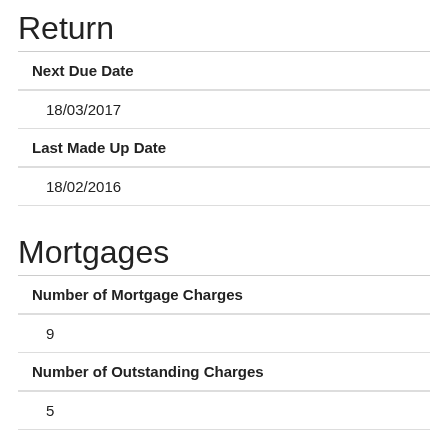Return
Next Due Date
18/03/2017
Last Made Up Date
18/02/2016
Mortgages
Number of Mortgage Charges
9
Number of Outstanding Charges
5